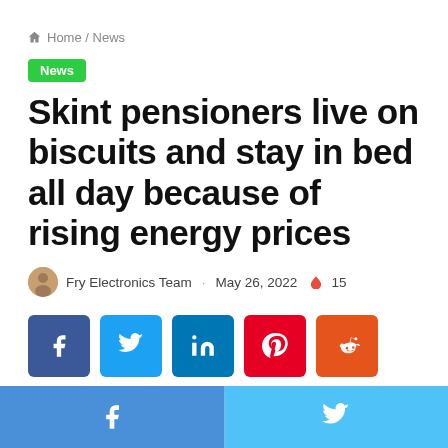🏠 Home / News
News
Skint pensioners live on biscuits and stay in bed all day because of rising energy prices
Fry Electronics Team · May 26, 2022 🔥 15
[Figure (other): Social share buttons: Facebook, Twitter, LinkedIn, Pinterest, Reddit]
Facebook | Twitter footer share bar